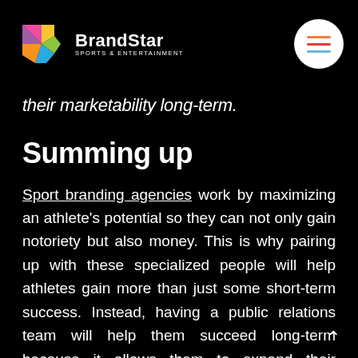BrandStar Sports & Entertainment
their marketability long-term.
Summing up
Sport branding agencies work by maximizing an athlete's potential so they can not only gain notoriety but also money. This is why pairing up with these specialized people will help athletes gain more than just some short-term success. Instead, having a public relations team will help them succeed long-term because it allows them to expand their audience and marketability, which means more opportunities to generate revenue in the future.